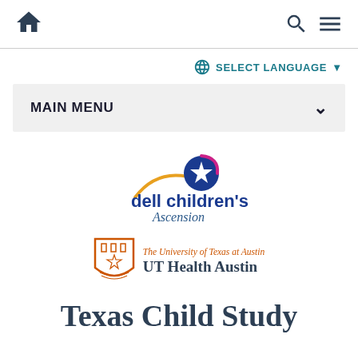Navigation bar with home icon, search icon, and menu icon
SELECT LANGUAGE
MAIN MENU
[Figure (logo): Dell Children's Ascension logo - blue circle with white star, gold swoosh, text 'dell children's' in blue and 'Ascension' in blue-gray italic]
[Figure (logo): The University of Texas at Austin UT Health Austin logo - orange UT shield crest with text]
Texas Child Study